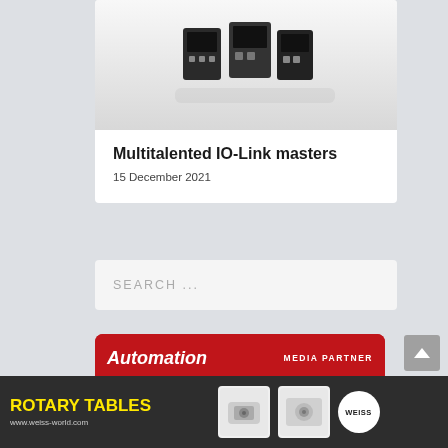[Figure (photo): Photo of IO-Link master hardware components (dark electronic modules) against a light grey/white background]
Multitalented IO-Link masters
15 December 2021
SEARCH ...
[Figure (logo): Automation magazine Media Partner banner with IMHX 2022 logo]
[Figure (infographic): Advertisement for Weiss Rotary Tables showing product images and www.weiss-world.com URL]